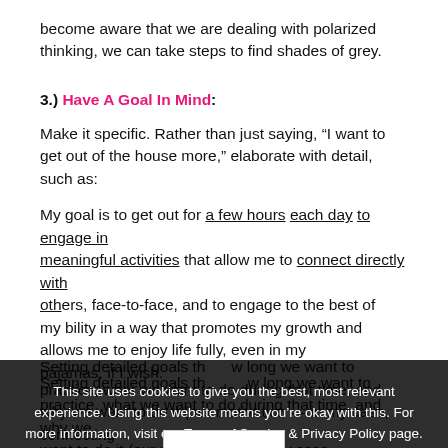become aware that we are dealing with polarized thinking, we can take steps to find shades of grey.
3.) Have A Goal In Mind:
Make it specific. Rather than just saying, “I want to get out of the house more,” elaborate with detail, such as:
My goal is to get out for a few hours each day to engage in meaningful activities that allow me to connect directly with others, face-to-face, and to engage to the best of my ability in a way that promotes my growth and allows me to enjoy life fully, even in my pajamas, if I wish.
This site uses cookies to give you the best, most relevant experience. Using this website means you’re okay with this. For more information, visit our Terms of Service & Privacy Policy page.
OK
Setting detailed goals that show how long we want to practice, what we want to do during that time, and why we want to do it (our motivation — in my case, connecting